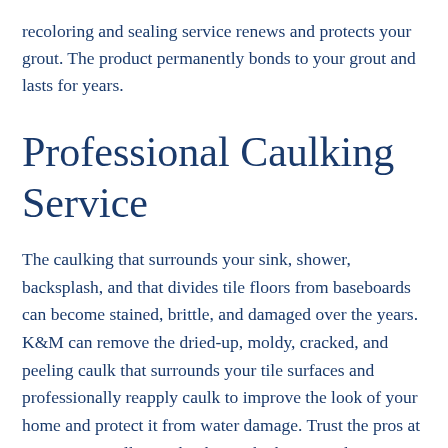recoloring and sealing service renews and protects your grout. The product permanently bonds to your grout and lasts for years.
Professional Caulking Service
The caulking that surrounds your sink, shower, backsplash, and that divides tile floors from baseboards can become stained, brittle, and damaged over the years. K&M can remove the dried-up, moldy, cracked, and peeling caulk that surrounds your tile surfaces and professionally reapply caulk to improve the look of your home and protect it from water damage. Trust the pros at K&M to recaulk your kitchen or bathroom right